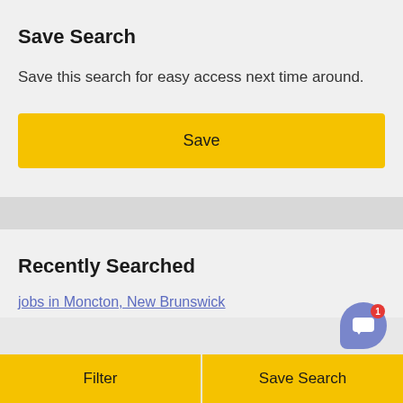Save Search
Save this search for easy access next time around.
[Figure (screenshot): Yellow Save button]
Recently Searched
jobs in Moncton, New Brunswick
[Figure (screenshot): Bottom navigation bar with Filter and Save Search buttons, and a chat bubble with badge showing 1]